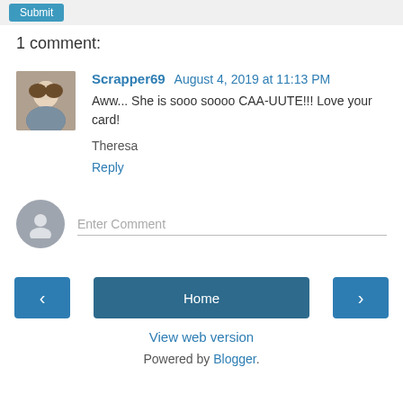1 comment:
Scrapper69  August 4, 2019 at 11:13 PM
Aww... She is sooo soooo CAA-UUTE!!! Love your card!
Theresa
Reply
Enter Comment
Home
View web version
Powered by Blogger.